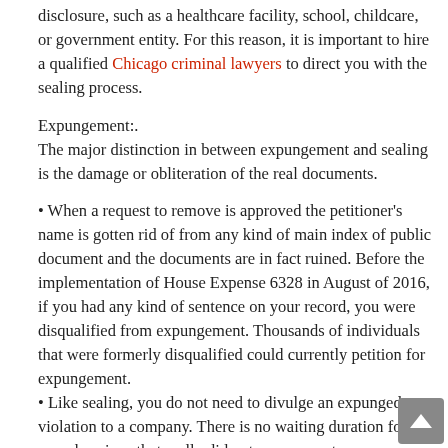disclosure, such as a healthcare facility, school, childcare, or government entity. For this reason, it is important to hire a qualified Chicago criminal lawyers to direct you with the sealing process.
Expungement:.
The major distinction in between expungement and sealing is the damage or obliteration of the real documents.
• When a request to remove is approved the petitioner's name is gotten rid of from any kind of main index of public document and the documents are in fact ruined. Before the implementation of House Expense 6328 in August of 2016, if you had any kind of sentence on your record, you were disqualified from expungement. Thousands of individuals that were formerly disqualified could currently petition for expungement.
• Like sealing, you do not need to divulge an expunged violation to a company. There is no waiting duration for apprehensions that really did not cause a sentence.